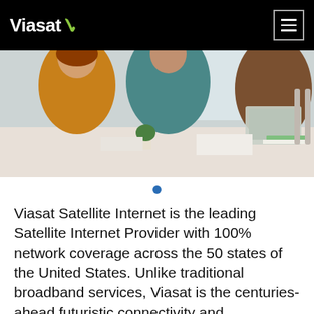Viasat
[Figure (photo): People sitting at a white office table working with laptops and documents, office setting with bright lighting]
Viasat Satellite Internet is the leading Satellite Internet Provider with 100% network coverage across the 50 states of the United States. Unlike traditional broadband services, Viasat is the centuries-ahead futuristic connectivity and communications partner offering incredibly amazing and affordable satellite plans to